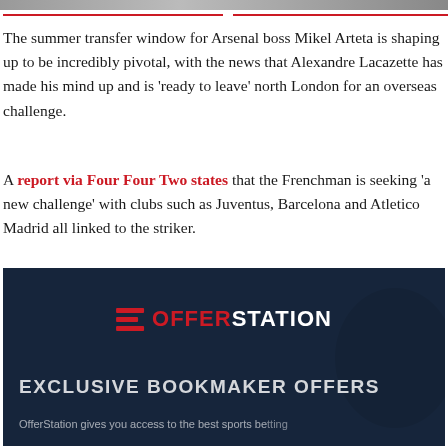[Figure (photo): Top image strip showing cropped photo]
The summer transfer window for Arsenal boss Mikel Arteta is shaping up to be incredibly pivotal, with the news that Alexandre Lacazette has made his mind up and is 'ready to leave' north London for an overseas challenge.
A report via Four Four Two states that the Frenchman is seeking 'a new challenge' with clubs such as Juventus, Barcelona and Atletico Madrid all linked to the striker.
[Figure (logo): OfferStation exclusive bookmaker offers advertisement banner with dark blue background, OfferStation logo, text EXCLUSIVE BOOKMAKER OFFERS and subtext OfferStation gives you access to the best sports betting offers]